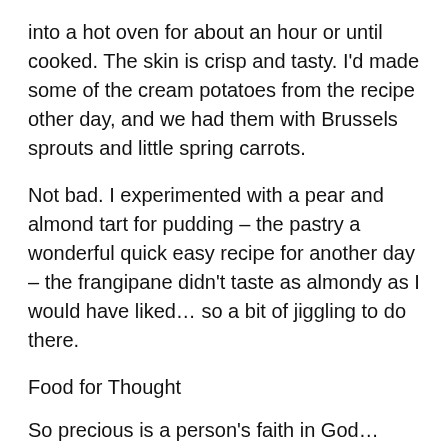into a hot oven for about an hour or until cooked. The skin is crisp and tasty. I'd made some of the cream potatoes from the recipe other day, and we had them with Brussels sprouts and little spring carrots.
Not bad. I experimented with a pear and almond tart for pudding – the pastry a wonderful quick easy recipe for another day – the frangipane didn't taste as almondy as I would have liked… so a bit of jiggling to do there.
Food for Thought
So precious is a person's faith in God… never should we harm that.
Because He gave birth to all religions.      St Francis of Assisi 1182 -1226